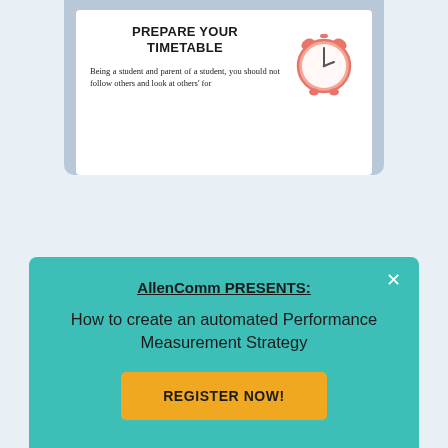[Figure (screenshot): Partially visible white card on a blue-grey background, showing a section titled PREPARE YOUR TIMETABLE with body text and an alarm clock illustration on the right.]
[Figure (screenshot): Partially visible blue card at the bottom of the page background, with lighter inner rectangle and white text starting with 'Posted on August 2, 2022'.]
AllenComm PRESENTS:
How to create an automated Performance Measurement Strategy
REGISTER NOW!